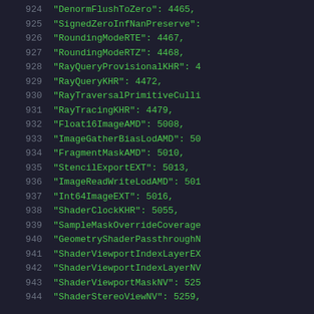924    "DenormFlushToZero": 4465,
925    "SignedZeroInfNanPreserve":
926    "RoundingModeRTE": 4467,
927    "RoundingModeRTZ": 4468,
928    "RayQueryProvisionalKHR": 4
929    "RayQueryKHR": 4472,
930    "RayTraversalPrimitiveCulli
931    "RayTracingKHR": 4479,
932    "Float16ImageAMD": 5008,
933    "ImageGatherBiasLodAMD": 50
934    "FragmentMaskAMD": 5010,
935    "StencilExportEXT": 5013,
936    "ImageReadWriteLodAMD": 501
937    "Int64ImageEXT": 5016,
938    "ShaderClockKHR": 5055,
939    "SampleMaskOverrideCoverage
940    "GeometryShaderPassthroughN
941    "ShaderViewportIndexLayerEX
942    "ShaderViewportIndexLayerNV
943    "ShaderViewportMaskNV": 525
944    "ShaderStereoViewNV": 5259,